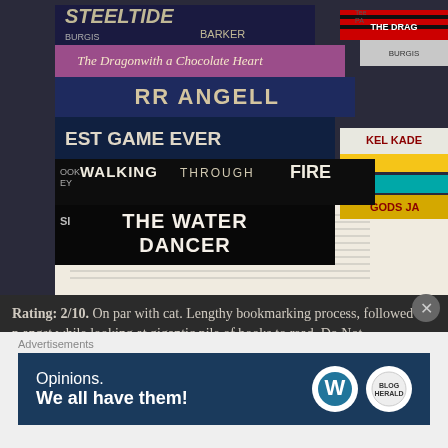[Figure (photo): Stacked book spines visible including titles: Steel Tide (Barker / Burgis), The Dragonwith a Chocolate Heart, RR Angell, EST Game Ever, Walking Through Fire, The Water Dancer, Kel Kade, Gods. Books are stacked on what appears to be a recipe book open in the background.]
Rating: 2/10. On par with cat. Lengthy bookmarking process, followed by p angst while looking at gigantic pile of books to read. Do Not Recommend. America: the Beautiful cookbook.)
Advertisements
[Figure (screenshot): WordPress advertisement banner: 'Opinions. We all have them!' with WordPress and another logo on dark blue background.]